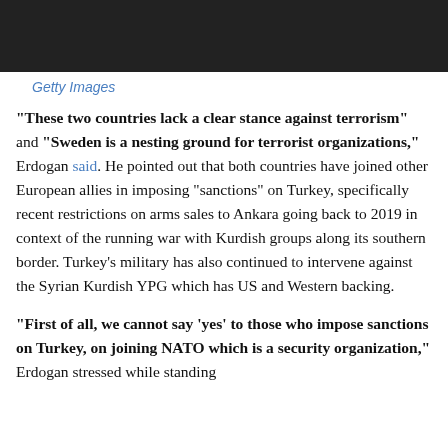[Figure (photo): Dark photograph strip showing people in suits at top of page]
Getty Images
“These two countries lack a clear stance against terrorism” and “Sweden is a nesting ground for terrorist organizations,” Erdogan said. He pointed out that both countries have joined other European allies in imposing “sanctions” on Turkey, specifically recent restrictions on arms sales to Ankara going back to 2019 in context of the running war with Kurdish groups along its southern border. Turkey’s military has also continued to intervene against the Syrian Kurdish YPG which has US and Western backing.
“First of all, we cannot say ‘yes’ to those who impose sanctions on Turkey, on joining NATO which is a security organization,” Erdogan stressed while standing